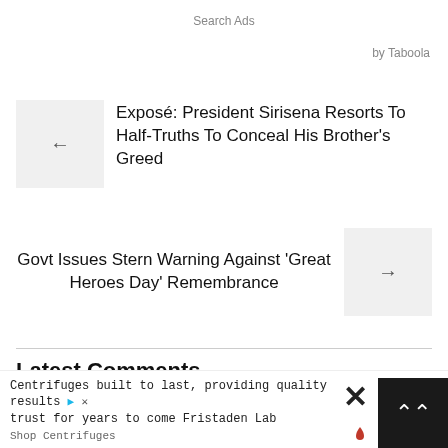Search Ads
by Taboola
Exposé: President Sirisena Resorts To Half-Truths To Conceal His Brother's Greed
Govt Issues Stern Warning Against 'Great Heroes Day' Remembrance
Latest Comments
[Figure (logo): Purple geometric star/snowflake logo icon]
Centrifuges built to last, providing quality results • trust for years to come Fristaden Lab
Shop Centrifuges